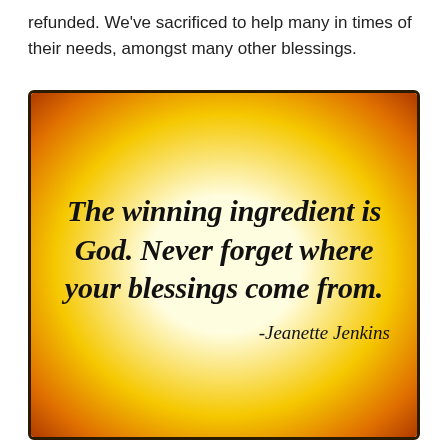refunded. We've sacrificed to help many in times of their needs, amongst many other blessings.
[Figure (illustration): A motivational quote card with a yellow-to-orange radial gradient background and dark border. Text reads: 'The winning ingredient is God. Never forget where your blessings come from. -Jeanette Jenkins' in bold italic serif font.]